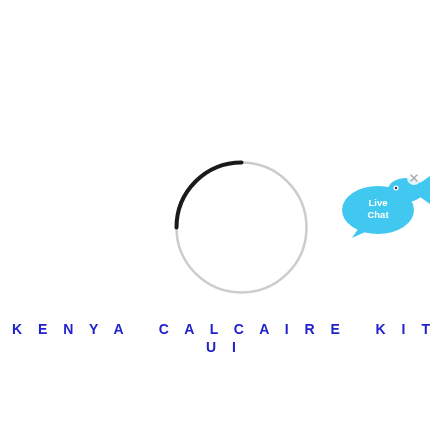[Figure (other): A circular loading spinner ring. Most of the ring is light gray, with a short arc at the top-left rendered in black, indicating a loading/spinner animation.]
[Figure (illustration): Live Chat widget icon: a cyan/blue speech bubble with 'Live Chat' text, and a small cyan fish shape to the upper right, with an 'x' close button.]
KENYA CALCAIRE KITUI